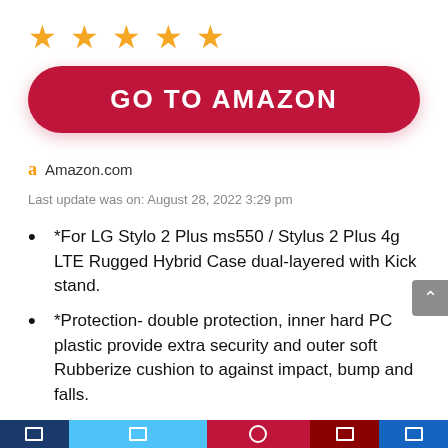[Figure (other): Five gold star rating icons]
GO TO AMAZON
Amazon.com
Last update was on: August 28, 2022 3:29 pm
*For LG Stylo 2 Plus ms550 / Stylus 2 Plus 4g LTE Rugged Hybrid Case dual-layered with Kick stand.
*Protection- double protection, inner hard PC plastic provide extra security and outer soft Rubberize cushion to against impact, bump and falls.
*Protection- The item is made to protect the LCD